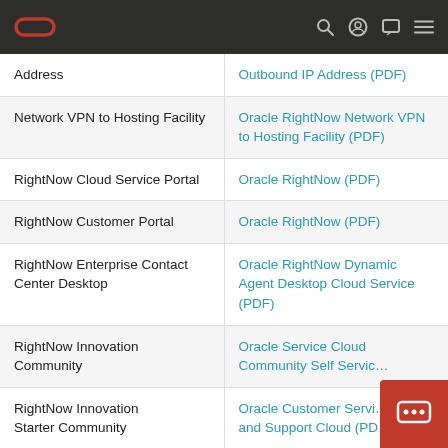Oracle (logo) | search, profile, chat, menu icons
|  |  |
| --- | --- |
| Address | Outbound IP Address (PDF) |
| Network VPN to Hosting Facility | Oracle RightNow Network VPN to Hosting Facility (PDF) |
| RightNow Cloud Service Portal | Oracle RightNow (PDF) |
| RightNow Customer Portal | Oracle RightNow (PDF) |
| RightNow Enterprise Contact Center Desktop | Oracle RightNow Dynamic Agent Desktop Cloud Service (PDF) |
| RightNow Innovation Community | Oracle Service Cloud Community Self Servic… |
| RightNow Innovation Starter Community | Oracle Customer Servi… and Support Cloud (PD… |